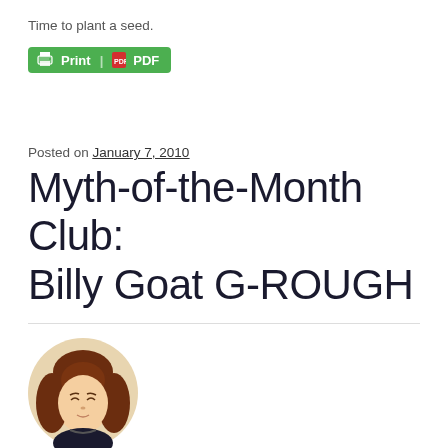Time to plant a seed.
[Figure (screenshot): Green Print/PDF button with printer icon and PDF icon]
Posted on January 7, 2010
Myth-of-the-Month Club: Billy Goat G-ROUGH
[Figure (illustration): Anime-style avatar of a woman with brown hair]
Written by
blog0rama